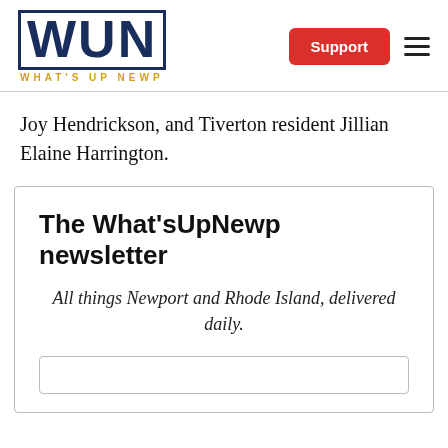WUN WHAT'S UP NEWP | Support
Joy Hendrickson, and Tiverton resident Jillian Elaine Harrington.
The What'sUpNewp newsletter
All things Newport and Rhode Island, delivered daily.